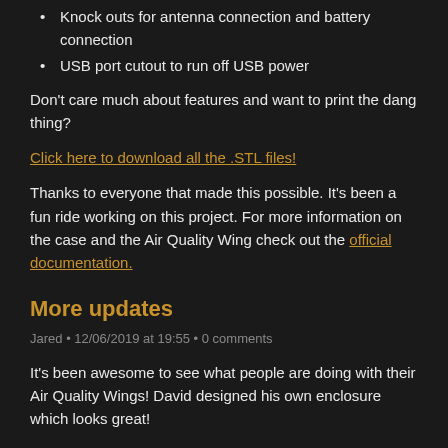Knock outs for antenna connection and battery connection
USB port cutout to run off USB power
Don't care much about features and want to print the dang thing?
Click here to download all the .STL files!
Thanks to everyone that made this possible. It's been a fun ride working on this project. For more information on the case and the Air Quality Wing check out the official documentation.
More updates
Jared • 12/06/2019 at 19:55 • 0 comments
It's been awesome to see what people are doing with their Air Quality Wings! David designed his own enclosure which looks great!